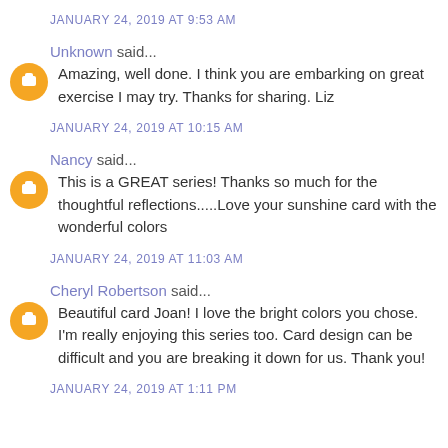JANUARY 24, 2019 AT 9:53 AM
Unknown said...
Amazing, well done. I think you are embarking on great exercise I may try. Thanks for sharing. Liz
JANUARY 24, 2019 AT 10:15 AM
Nancy said...
This is a GREAT series! Thanks so much for the thoughtful reflections.....Love your sunshine card with the wonderful colors
JANUARY 24, 2019 AT 11:03 AM
Cheryl Robertson said...
Beautiful card Joan! I love the bright colors you chose. I'm really enjoying this series too. Card design can be difficult and you are breaking it down for us. Thank you!
JANUARY 24, 2019 AT 1:11 PM